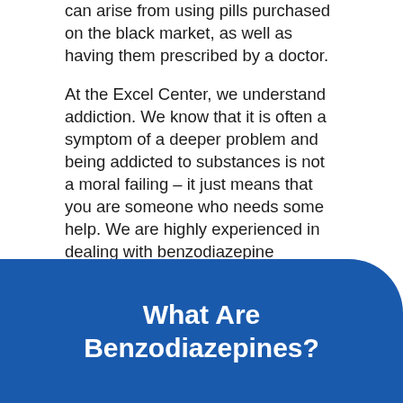can arise from using pills purchased on the black market, as well as having them prescribed by a doctor.
At the Excel Center, we understand addiction. We know that it is often a symptom of a deeper problem and being addicted to substances is not a moral failing – it just means that you are someone who needs some help. We are highly experienced in dealing with benzodiazepine addiction, and support is available at Excel Treatment Center for anyone struggling.
What Are Benzodiazepines?